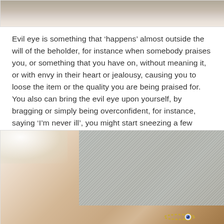[Figure (photo): Close-up photo of a hand or wrist resting on a surface, partially cropped at top of page]
Evil eye is something that ‘happens’ almost outside the will of the beholder, for instance when somebody praises you, or something that you have on, without meaning it, or with envy in their heart or jealousy, causing you to loose the item or the quality you are being praised for. You also can bring the evil eye upon yourself, by bragging or simply being overconfident, for instance, saying ‘I’m never ill’, you might start sneezing a few hours later.
[Figure (photo): Photo of a wrist wearing a gold evil eye bracelet with a small charm, resting against grey fabric clothing]